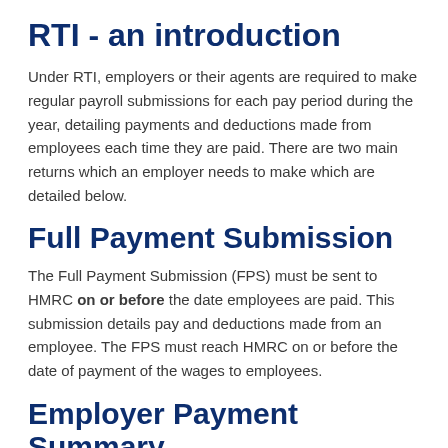RTI - an introduction
Under RTI, employers or their agents are required to make regular payroll submissions for each pay period during the year, detailing payments and deductions made from employees each time they are paid. There are two main returns which an employer needs to make which are detailed below.
Full Payment Submission
The Full Payment Submission (FPS) must be sent to HMRC on or before the date employees are paid. This submission details pay and deductions made from an employee. The FPS must reach HMRC on or before the date of payment of the wages to employees.
Employer Payment Summary